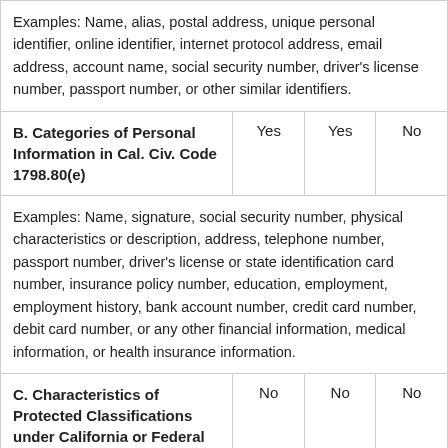| Examples: Name, alias, postal address, unique personal identifier, online identifier, internet protocol address, email address, account name, social security number, driver's license number, passport number, or other similar identifiers. |  |  |  |
| B. Categories of Personal Information in Cal. Civ. Code 1798.80(e) | Yes | Yes | No |
| Examples: Name, signature, social security number, physical characteristics or description, address, telephone number, passport number, driver's license or state identification card number, insurance policy number, education, employment, employment history, bank account number, credit card number, debit card number, or any other financial information, medical information, or health insurance information. |  |  |  |
| C. Characteristics of Protected Classifications under California or Federal Law | No | No | No |